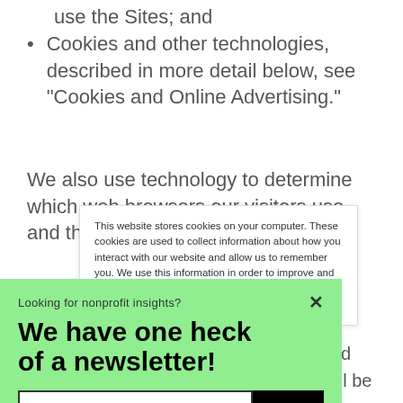use the Sites; and
Cookies and other technologies, described in more detail below, see "Cookies and Online Advertising."
We also use technology to determine which web browsers our visitors use and the address from
This website stores cookies on your computer. These cookies are used to collect information about how you interact with our website and allow us to remember you. We use this information in order to improve and customize your browsing experience and for analytics and metrics about our visitors both
racked
he will be
reference
[Figure (infographic): Newsletter signup popup with green background. Header reads 'Looking for nonprofit insights?' with a close X button. Large bold heading: 'We have one heck of a newsletter!' Email input field with 'I'M IN' button. 'No thanks' link below.]